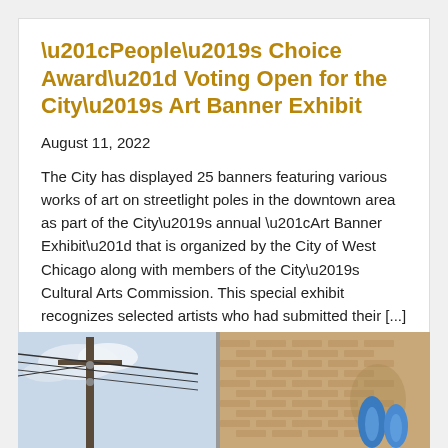“People’s Choice Award” Voting Open for the City’s Art Banner Exhibit
August 11, 2022
The City has displayed 25 banners featuring various works of art on streetlight poles in the downtown area as part of the City’s annual “Art Banner Exhibit” that is organized by the City of West Chicago along with members of the City’s Cultural Arts Commission. This special exhibit recognizes selected artists who had submitted their [...]
Read More
[Figure (photo): Street scene showing utility poles with wires on the left side and a brick building with blue decorative banner/artwork on the right side]